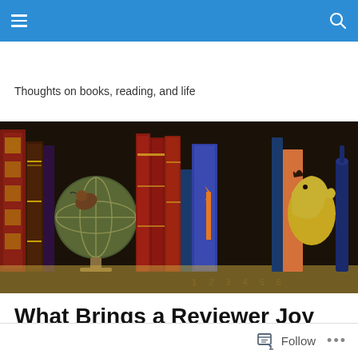Navigation bar with hamburger menu and search icon
Thoughts on books, reading, and life
[Figure (photo): A decorative banner image showing a row of illustrated/painted books on a shelf with a globe, various colored book spines, and numbers 1 2 3 4 5 6 visible at the bottom on a dark background.]
What Brings a Reviewer Joy
[Figure (photo): Partial thumbnail image at the bottom of the page, partially cut off.]
Follow  •••